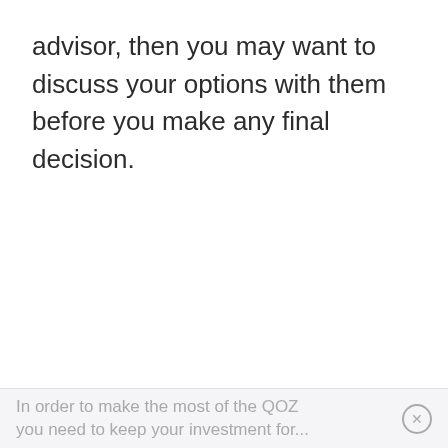advisor, then you may want to discuss your options with them before you make any final decision.
In order to make the most of the QOZ you need to keep your investment for...